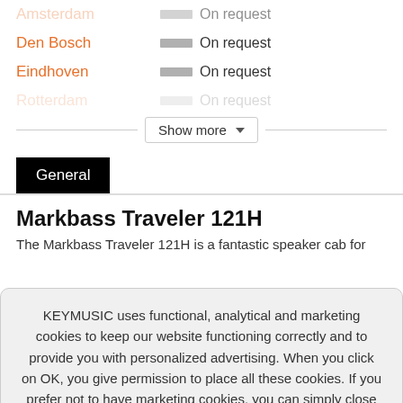Amsterdam — On request
Den Bosch — On request
Eindhoven — On request
Rotterdam — On request
Show more ▾
General
Markbass Traveler 121H
The Markbass Traveler 121H is a fantastic speaker cab for
KEYMUSIC uses functional, analytical and marketing cookies to keep our website functioning correctly and to provide you with personalized advertising. When you click on OK, you give permission to place all these cookies. If you prefer not to have marketing cookies, you can simply close this message.
OK
Close